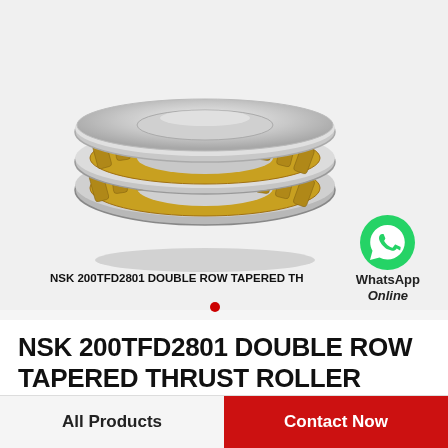[Figure (photo): NSK 200TFD2801 double row tapered thrust roller bearing — a large annular bearing with silver steel rings and gold-colored tapered roller cage visible around the circumference, photographed on a white/light grey background. A WhatsApp green chat bubble icon with 'WhatsApp Online' text is overlaid in the bottom-right area of the photo.]
NSK 200TFD2801 DOUBLE ROW TAPERED TH
NSK 200TFD2801 DOUBLE ROW TAPERED THRUST ROLLER BEARINGS
All Products   Contact Now